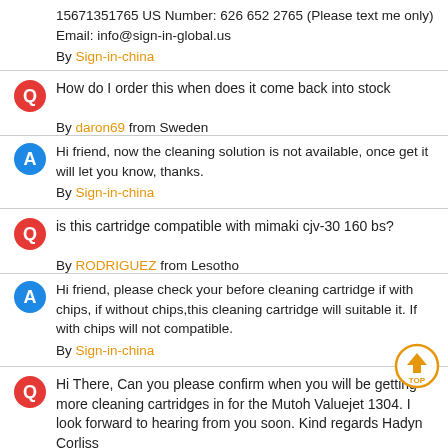15671351765 US Number: 626 652 2765 (Please text me only) Email: info@sign-in-global.us
By Sign-in-china
How do I order this when does it come back into stock
By daron69 from Sweden
Hi friend, now the cleaning solution is not available, once get it will let you know, thanks.
By Sign-in-china
is this cartridge compatible with mimaki cjv-30 160 bs?
By RODRIGUEZ from Lesotho
Hi friend, please check your before cleaning cartridge if with chips, if without chips,this cleaning cartridge will suitable it. If with chips will not compatible.
By Sign-in-china
Hi There, Can you please confirm when you will be getting more cleaning cartridges in for the Mutoh Valuejet 1304. I look forward to hearing from you soon. Kind regards Hadyn Corliss
By hadyn